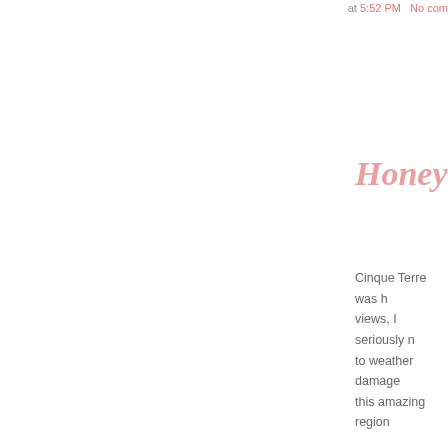at 5:52 PM   No com
Honeymoon
Cinque Terre was h views, I seriously n to weather damage this amazing region